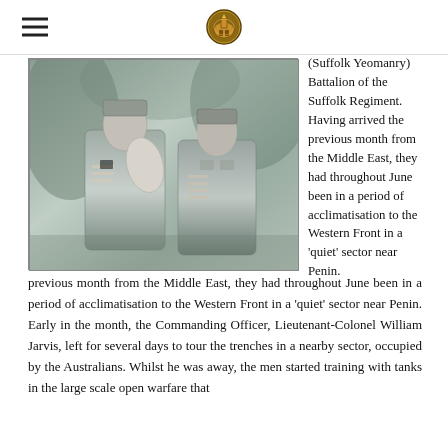[Navigation header with hamburger menu and regimental crest logo]
[Figure (photo): Black and white photograph of two soldiers in World War I uniforms, wearing military tunics with rank insignia on the sleeves.]
(Suffolk Yeomanry) Battalion of the Suffolk Regiment. Having arrived the previous month from the Middle East, they had throughout June been in a period of acclimatisation to the Western Front in a 'quiet' sector near Penin. Early in the month, the Commanding Officer, Lieutenant-Colonel William Jarvis, left for several days to tour the trenches in a nearby sector, occupied by the Australians. Whilst he was away, the men started training with tanks in the large scale open warfare that
previous month from the Middle East, they had throughout June been in a period of acclimatisation to the Western Front in a 'quiet' sector near Penin. Early in the month, the Commanding Officer, Lieutenant-Colonel William Jarvis, left for several days to tour the trenches in a nearby sector, occupied by the Australians. Whilst he was away, the men started training with tanks in the large scale open warfare that